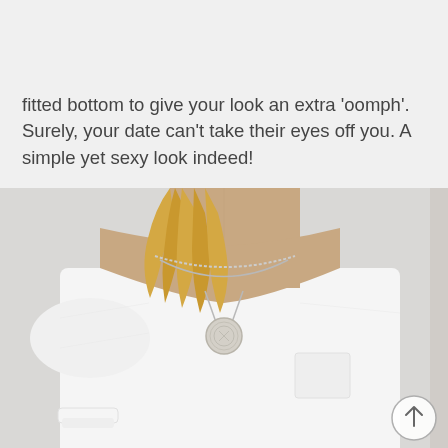fitted bottom to give your look an extra 'oomph'. Surely, your date can't take their eyes off you. A simple yet sexy look indeed!
[Figure (photo): Close-up photo of a woman wearing a white scoop-neck t-shirt with a small chest pocket and layered silver necklaces with a coin pendant, cropped to show neck and upper torso area.]